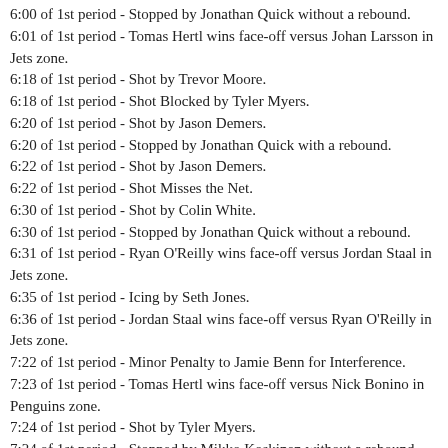6:00 of 1st period - Stopped by Jonathan Quick without a rebound.
6:01 of 1st period - Tomas Hertl wins face-off versus Johan Larsson in Jets zone.
6:18 of 1st period - Shot by Trevor Moore.
6:18 of 1st period - Shot Blocked by Tyler Myers.
6:20 of 1st period - Shot by Jason Demers.
6:20 of 1st period - Stopped by Jonathan Quick with a rebound.
6:22 of 1st period - Shot by Jason Demers.
6:22 of 1st period - Shot Misses the Net.
6:30 of 1st period - Shot by Colin White.
6:30 of 1st period - Stopped by Jonathan Quick without a rebound.
6:31 of 1st period - Ryan O'Reilly wins face-off versus Jordan Staal in Jets zone.
6:35 of 1st period - Icing by Seth Jones.
6:36 of 1st period - Jordan Staal wins face-off versus Ryan O'Reilly in Jets zone.
7:22 of 1st period - Minor Penalty to Jamie Benn for Interference.
7:23 of 1st period - Tomas Hertl wins face-off versus Nick Bonino in Penguins zone.
7:24 of 1st period - Shot by Tyler Myers.
7:24 of 1st period - Stopped by Mikko Koskinen without a rebound.
7:25 of 1st period - Tomas Hertl wins face-off versus Nick Bonino in Penguins zone.
7:28 of 1st period - Shot by Jake Guentzel.